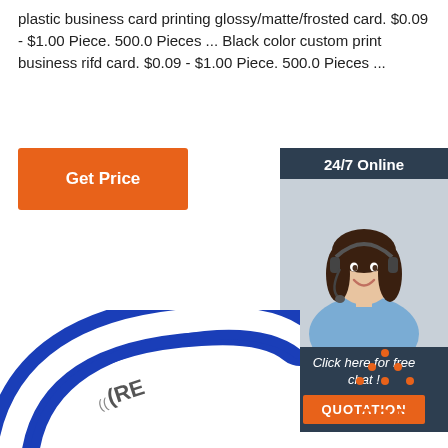plastic business card printing glossy/matte/frosted card. $0.09 - $1.00 Piece. 500.0 Pieces ... Black color custom print business rifd card. $0.09 - $1.00 Piece. 500.0 Pieces ...
[Figure (other): Orange 'Get Price' button]
[Figure (other): 24/7 Online chat widget with woman wearing headset, 'Click here for free chat!' text, and orange QUOTATION button]
[Figure (photo): Blue RFID wristband product photo, partially cropped, showing blue silicone band with white stripe and partial text 'RE']
[Figure (logo): Orange TOP badge with dotted triangle/arrow icon above the word TOP]